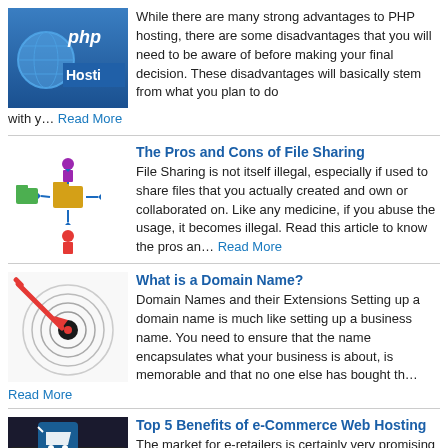[Figure (illustration): PHP Hosting logo with globe and text 'php Hosting']
While there are many strong advantages to PHP hosting, there are some disadvantages that you will need to be aware of before making your final decision. These disadvantages will basically stem from what you plan to do with y… Read More
[Figure (illustration): File sharing concept illustration with folders and arrows and person icons]
The Pros and Cons of File Sharing
File Sharing is not itself illegal, especially if used to share files that you actually created and own or collaborated on. Like any medicine, if you abuse the usage, it becomes illegal. Read this article to know the pros an… Read More
[Figure (illustration): Target/bullseye with red dart arrow illustration]
What is a Domain Name?
Domain Names and their Extensions Setting up a domain name is much like setting up a business name. You need to ensure that the name encapsulates what your business is about, is memorable and that no one else has bought th… Read More
[Figure (photo): Shopping cart on laptop keyboard for e-commerce]
Top 5 Benefits of e-Commerce Web Hosting
The market for e-retailers is certainly very promising today, thanks to the internet boom. Through a simple website, they can reach out to an infinite range of customers, beyond physical boundaries. The power of technology … Read More